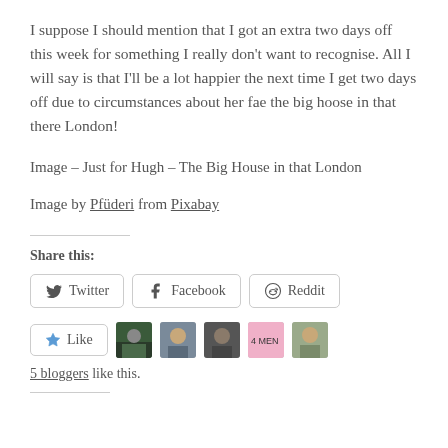I suppose I should mention that I got an extra two days off this week for something I really don't want to recognise. All I will say is that I'll be a lot happier the next time I get two days off due to circumstances about her fae the big hoose in that there London!
Image – Just for Hugh – The Big House in that London
Image by Pfüderi from Pixabay
Share this:
[Figure (screenshot): Share buttons row: Twitter, Facebook, Reddit buttons with icons]
[Figure (screenshot): Like button with star icon and 4 blogger avatar thumbnails]
5 bloggers like this.